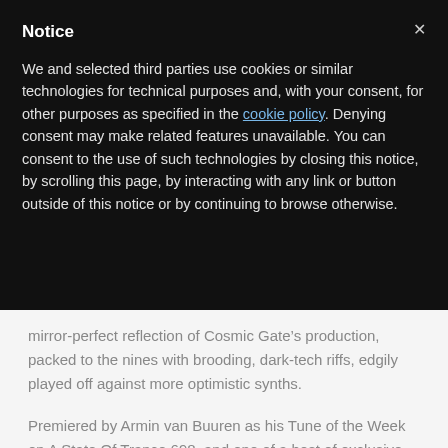Notice
We and selected third parties use cookies or similar technologies for technical purposes and, with your consent, for other purposes as specified in the cookie policy. Denying consent may make related features unavailable. You can consent to the use of such technologies by closing this notice, by scrolling this page, by interacting with any link or button outside of this notice or by continuing to browse otherwise.
mirror-perfect reflection of Cosmic Gate’s production, packed to the nines with brooding, dark-tech riffs, edgily played off against more optimistic synths.
Premiered by Armin van Buuren as his Tune of the Week on A State Of Trance 698, and one of a host of exclusive tracks to be featured on their first, just-announced ‘Wake Your Mind Sessions’ mix-comp (out in March), prepare to